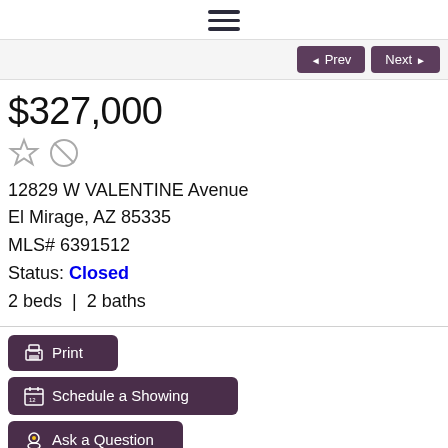≡
Prev | Next
$327,000
12829 W VALENTINE Avenue
El Mirage, AZ 85335
MLS# 6391512
Status: Closed
2 beds  |  2 baths
Print
Schedule a Showing
Ask a Question